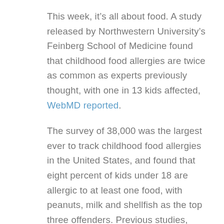This week, it's all about food. A study released by Northwestern University's Feinberg School of Medicine found that childhood food allergies are twice as common as experts previously thought, with one in 13 kids affected, WebMD reported.
The survey of 38,000 was the largest ever to track childhood food allergies in the United States, and found that eight percent of kids under 18 are allergic to at least one food, with peanuts, milk and shellfish as the top three offenders. Previous studies, including a government survey published in 2009, had estimated four percent. Many food allergies are mild, but this new study found that 40% of children had experienced severe,